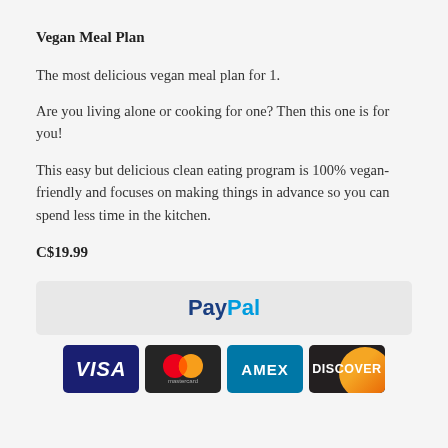Vegan Meal Plan
The most delicious vegan meal plan for 1.
Are you living alone or cooking for one? Then this one is for you!
This easy but delicious clean eating program is 100% vegan-friendly and focuses on making things in advance so you can spend less time in the kitchen.
C$19.99
[Figure (logo): PayPal payment button with Pay in dark blue and Pal in light blue on a light grey rounded rectangle background]
[Figure (logo): Row of four payment card logos: VISA (white on dark blue), Mastercard (overlapping red and orange circles on black), AMEX (white text on blue), DISCOVER (white text on dark with orange arc)]